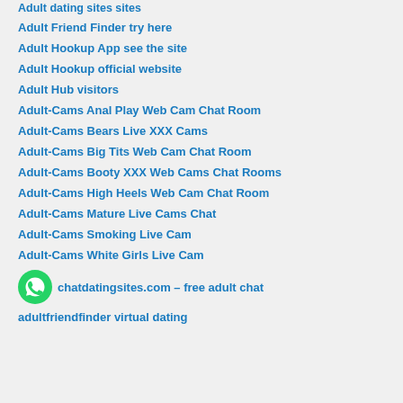Adult dating sites sites
Adult Friend Finder try here
Adult Hookup App see the site
Adult Hookup official website
Adult Hub visitors
Adult-Cams Anal Play Web Cam Chat Room
Adult-Cams Bears Live XXX Cams
Adult-Cams Big Tits Web Cam Chat Room
Adult-Cams Booty XXX Web Cams Chat Rooms
Adult-Cams High Heels Web Cam Chat Room
Adult-Cams Mature Live Cams Chat
Adult-Cams Smoking Live Cam
Adult-Cams White Girls Live Cam
chatdatingsites.com – free adult chat
adultfriendfinder virtual dating